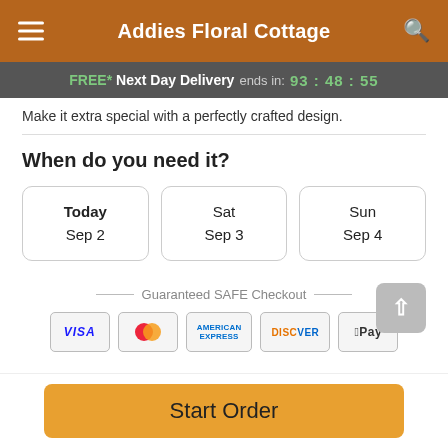Addies Floral Cottage
FREE* Next Day Delivery ends in: 93:48:55
Make it extra special with a perfectly crafted design.
When do you need it?
Today
Sep 2
Sat
Sep 3
Sun
Sep 4
Guaranteed SAFE Checkout
[Figure (infographic): Payment method icons: VISA, Mastercard, American Express, Discover, Apple Pay]
Start Order